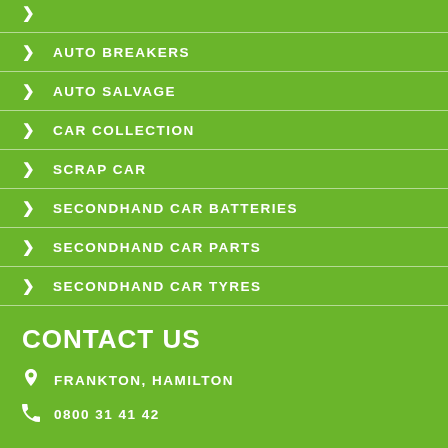AUTO BREAKERS
AUTO SALVAGE
CAR COLLECTION
SCRAP CAR
SECONDHAND CAR BATTERIES
SECONDHAND CAR PARTS
SECONDHAND CAR TYRES
CONTACT US
FRANKTON, HAMILTON
0800 31 41 42